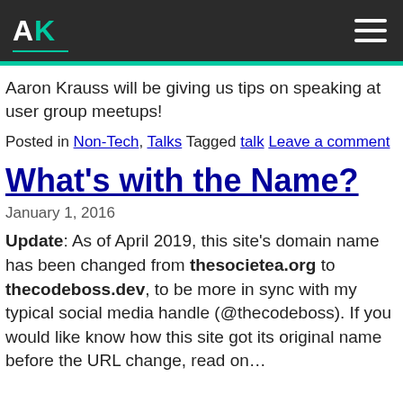AK
Aaron Krauss will be giving us tips on speaking at user group meetups!
Posted in Non-Tech, Talks Tagged talk Leave a comment
What's with the Name?
January 1, 2016
Update: As of April 2019, this site's domain name has been changed from thesocietea.org to thecodeboss.dev, to be more in sync with my typical social media handle (@thecodeboss). If you would like know how this site got its original name before the URL change, read on…